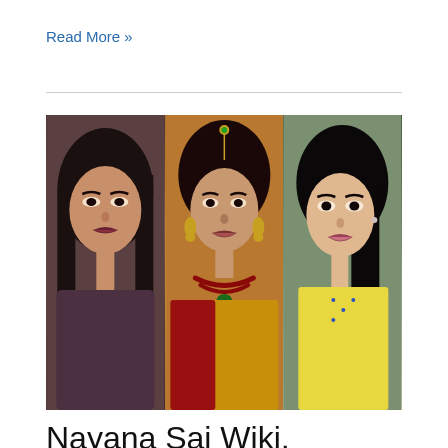Read More »
[Figure (photo): Three portrait photos of women side by side. Left: young woman with dark hair and smoky eye makeup wearing a dark top. Center: woman in traditional Indian bridal attire with maang tikka, bindi, jhumka earrings, and gold/ruby necklace wearing a silk saree. Right: young woman with long black hair wearing a yellow outfit.]
Nayana Sai Wiki, Biography, Age, Family, Images